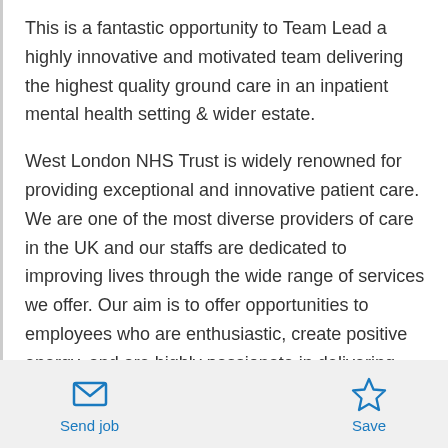This is a fantastic opportunity to Team Lead a highly innovative and motivated team delivering the highest quality ground care in an inpatient mental health setting & wider estate.
West London NHS Trust is widely renowned for providing exceptional and innovative patient care. We are one of the most diverse providers of care in the UK and our staffs are dedicated to improving lives through the wide range of services we offer. Our aim is to offer opportunities to employees who are enthusiastic, create positive energy, and are highly passionate in delivering and providing excellent
Send job   Save